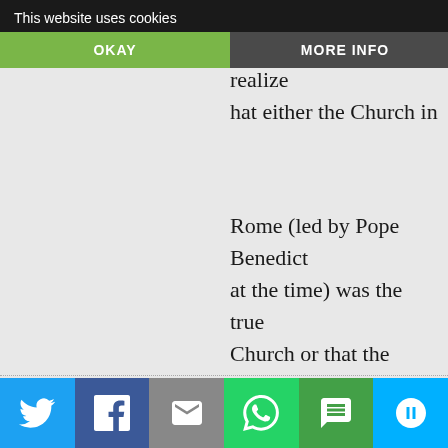[Figure (screenshot): Cookie consent banner overlay with dark background, showing 'This website uses cookies' text, an OKAY button (green) and MORE INFO button (dark gray)]
a long time. Ultimately, however, I came to realize that either the Church in Rome (led by Pope Benedict at the time) was the true Church or that the whole Christian enterprise was a sham. You can’t accuse Rome of apostasy and continue to hold that Catholicism is true. To do is illogical, especially in light of Vatican I.
[Figure (screenshot): Social sharing bar at bottom with Twitter, Facebook, Email, WhatsApp, SMS, and Share buttons in respective brand colors]